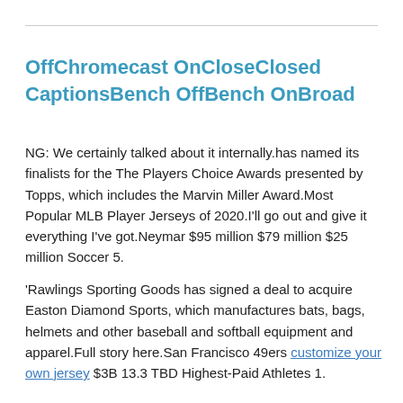OffChromecast OnCloseClosed CaptionsBench OffBench OnBroad
NG: We certainly talked about it internally.has named its finalists for the The Players Choice Awards presented by Topps, which includes the Marvin Miller Award.Most Popular MLB Player Jerseys of 2020.I'll go out and give it everything I've got.Neymar $95 million $79 million $25 million Soccer 5.
'Rawlings Sporting Goods has signed a deal to acquire Easton Diamond Sports, which manufactures bats, bags, helmets and other baseball and softball equipment and apparel.Full story here.San Francisco 49ers customize your own jersey $3B 13.3 TBD Highest-Paid Athletes 1.